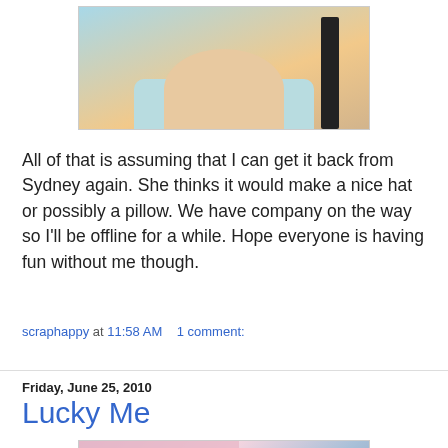[Figure (photo): Partial photo of a person wearing a light blue shirt with a dark strap, cropped at top of page]
All of that is assuming that I can get it back from Sydney again. She thinks it would make a nice hat or possibly a pillow. We have company on the way so I'll be offline for a while. Hope everyone is having fun without me though.
scraphappy at 11:58 AM   1 comment:
Friday, June 25, 2010
Lucky Me
[Figure (photo): Photo of fabric and craft supplies including pink patterned fabric, blue book or notebook, and a red item, on a dark background]